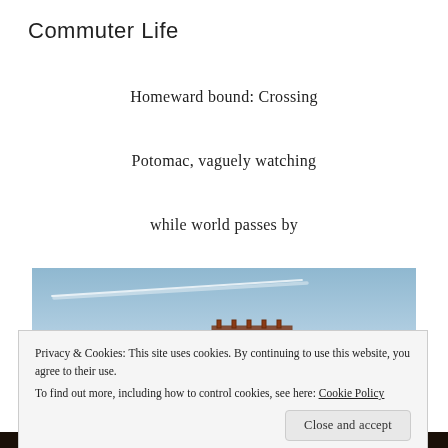Commuter Life
Homeward bound: Crossing
Potomac, vaguely watching
while world passes by
[Figure (photo): Photo of a railroad bridge (rust-colored steel truss structure) crossing the Potomac River, with a blue sky background and a visible contrail from an airplane.]
Privacy & Cookies: This site uses cookies. By continuing to use this website, you agree to their use.
To find out more, including how to control cookies, see here: Cookie Policy
Close and accept